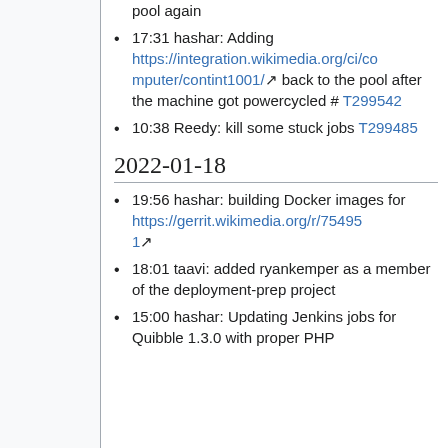back to the pool again
17:31 hashar: Adding https://integration.wikimedia.org/ci/computer/contint1001/ back to the pool after the machine got powercycled # T299542
10:38 Reedy: kill some stuck jobs T299485
2022-01-18
19:56 hashar: building Docker images for https://gerrit.wikimedia.org/r/754951
18:01 taavi: added ryankemper as a member of the deployment-prep project
15:00 hashar: Updating Jenkins jobs for Quibble 1.3.0 with proper PHP